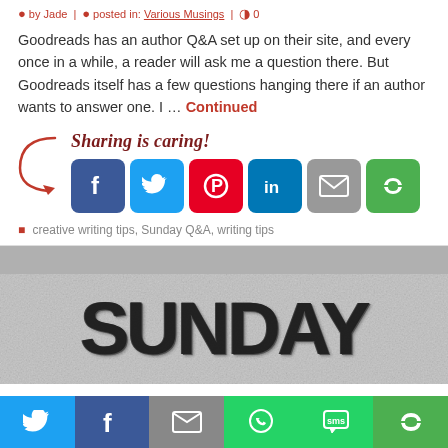by Jade | posted in: Various Musings | 0
Goodreads has an author Q&A set up on their site, and every once in a while, a reader will ask me a question there. But Goodreads itself has a few questions hanging there if an author wants to answer one. I … Continued
[Figure (infographic): Sharing is caring! social share buttons: Facebook, Twitter, Pinterest, LinkedIn, Email, More Options]
creative writing tips, Sunday Q&A, writing tips
[Figure (photo): Banner image with the text SUNDAY in large bold black distressed letters on a gray textured background]
[Figure (infographic): Bottom share bar with icons: Twitter (blue), Facebook (dark blue), Email (gray), WhatsApp (green), SMS (green), More Options (green)]